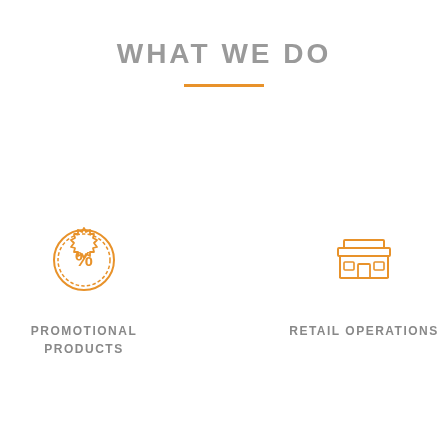WHAT WE DO
[Figure (infographic): Two icons side by side: a promotional products icon (circular badge with percent sign) and a retail operations icon (storefront/building). Labels below each icon.]
PROMOTIONAL PRODUCTS
RETAIL OPERATIONS